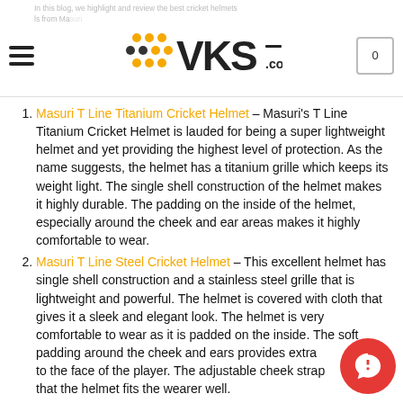VKS.com — In this blog, we highlight and review the best cricket helmets from Masuri
Masuri T Line Titanium Cricket Helmet – Masuri's T Line Titanium Cricket Helmet is lauded for being a super lightweight helmet and yet providing the highest level of protection. As the name suggests, the helmet has a titanium grille which keeps its weight light. The single shell construction of the helmet makes it highly durable. The padding on the inside of the helmet, especially around the cheek and ear areas makes it highly comfortable to wear.
Masuri T Line Steel Cricket Helmet – This excellent helmet has single shell construction and a stainless steel grille that is lightweight and powerful. The helmet is covered with cloth that gives it a sleek and elegant look. The helmet is very comfortable to wear as it is padded on the inside. The soft padding around the cheek and ears provides extra protection to the face of the player. The adjustable cheek straps ensures that the helmet fits the wearer well.